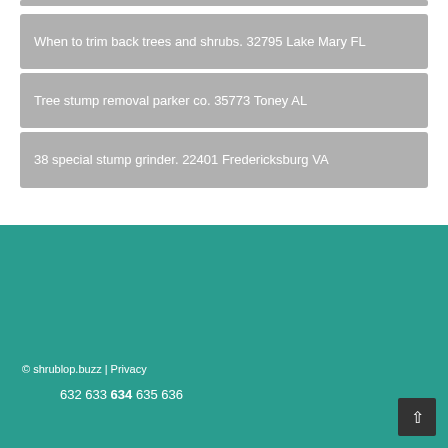When to trim back trees and shrubs. 32795 Lake Mary FL
Tree stump removal parker co. 35773 Toney AL
38 special stump grinder. 22401 Fredericksburg VA
© shrublop.buzz | Privacy
632 633 634 635 636